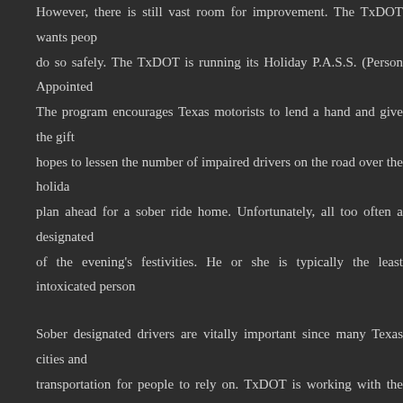However, there is still vast room for improvement. The TxDOT wants people to do so safely. The TxDOT is running its Holiday P.A.S.S. (Person Appointed to Stay Sober). The program encourages Texas motorists to lend a hand and give the gift of life. It hopes to lessen the number of impaired drivers on the road over the holidays by getting plan ahead for a sober ride home. Unfortunately, all too often a designated driver is part of the evening's festivities. He or she is typically the least intoxicated person in the group.
Sober designated drivers are vitally important since many Texas cities and towns lack transportation for people to rely on. TxDOT is working with the local transit authorities in Austin, San Antonio and Corpus Christi to help people consider using the bus.
While the holiday season is a wonderful time of year to be out and celebrate, no one makes the decision to drink and drive. To remind people to have a sober driver, TxDOT will have also have a “Sober Sleigh Ride” visiting more than twelve cities, making appearances at local parades and shopping malls. The “sleigh” is actually a pickup truck made to look like a present.
Texans can help a friend, family member or co-worker this holiday season. People who agree to utilize a sober ride over the holidays can enter into a drawing for at the Richard Petty Racing Experience at Texas Motor Speedway, a $2,000 trip, and $1,000 American Express gift cards.